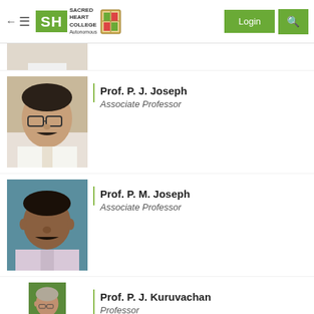[Figure (screenshot): Sacred Heart College Autonomous website header with navigation menu icon, back arrow, SH logo in green, college crest, Login button and search icon in green]
[Figure (photo): Partial photo of a person in white shirt, cropped at top]
Prof. P. J. Joseph
Associate Professor
[Figure (photo): Photo of Prof. P. M. Joseph, middle-aged man with mustache, wearing light pink shirt, teal/blue-green background]
Prof. P. M. Joseph
Associate Professor
[Figure (photo): Partial photo of Prof. P. J. Kuruvachan, elderly man with glasses, green background, cropped at bottom]
Prof. P. J. Kuruvachan
Professor